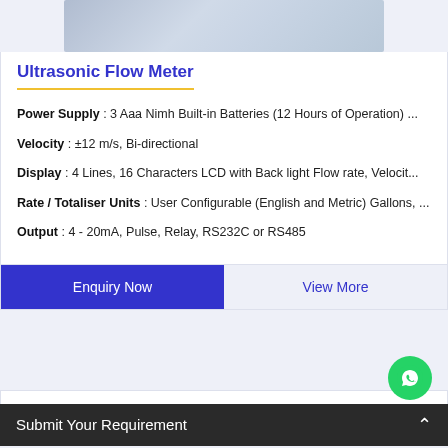[Figure (photo): Partial product image of Ultrasonic Flow Meter, cropped at top]
Ultrasonic Flow Meter
Power Supply : 3 Aaa Nimh Built-in Batteries (12 Hours of Operation) ...
Velocity : ±12 m/s, Bi-directional
Display : 4 Lines, 16 Characters LCD with Back light Flow rate, Velocit...
Rate / Totaliser Units : User Configurable (English and Metric) Gallons, ...
Output : 4 - 20mA, Pulse, Relay, RS232C or RS485
Enquiry Now
View More
Products
Submit Your Requirement